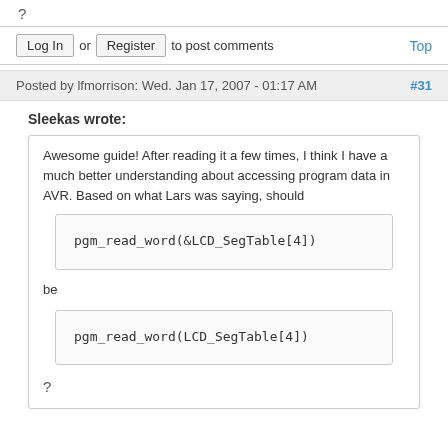?
Log In or Register to post comments
Top
Posted by lfmorrison: Wed. Jan 17, 2007 - 01:17 AM
#31
Sleekas wrote:
Awesome guide! After reading it a few times, I think I have a much better understanding about accessing program data in AVR. Based on what Lars was saying, should
pgm_read_word(&LCD_SegTable[4])
be
pgm_read_word(LCD_SegTable[4])
?